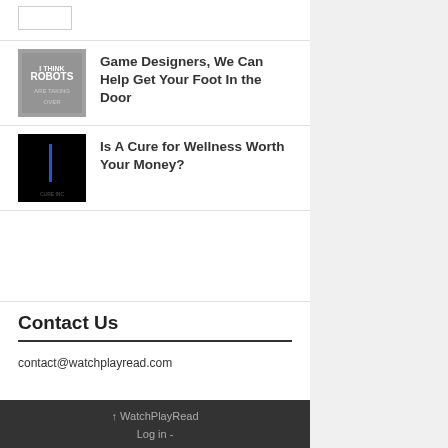[Figure (other): Small white rectangle placeholder image at top left]
Game Designers, We Can Help Get Your Foot In the Door
Is A Cure for Wellness Worth Your Money?
Contact Us
contact@watchplayread.com
↑ WatchPlayRead
Log in -